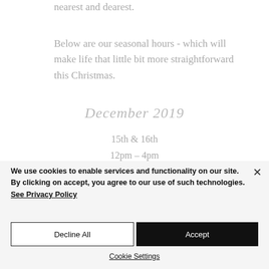nearest and dearest.
Below are our seasonal hours  - which will make life that little bit more straightforward this Christmas.
December 2019
15th & 16th
12pm – 4pm
We use cookies to enable services and functionality on our site. By clicking on accept, you agree to our use of such technologies. See Privacy Policy
Decline All
Accept
Cookie Settings